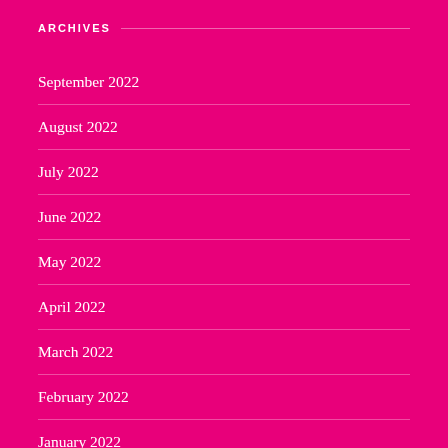ARCHIVES
September 2022
August 2022
July 2022
June 2022
May 2022
April 2022
March 2022
February 2022
January 2022